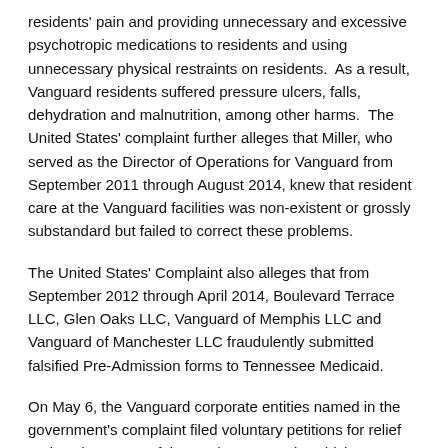residents' pain and providing unnecessary and excessive psychotropic medications to residents and using unnecessary physical restraints on residents.  As a result, Vanguard residents suffered pressure ulcers, falls, dehydration and malnutrition, among other harms.  The United States' complaint further alleges that Miller, who served as the Director of Operations for Vanguard from September 2011 through August 2014, knew that resident care at the Vanguard facilities was non-existent or grossly substandard but failed to correct these problems.
The United States' Complaint also alleges that from September 2012 through April 2014, Boulevard Terrace LLC, Glen Oaks LLC, Vanguard of Memphis LLC and Vanguard of Manchester LLC fraudulently submitted falsified Pre-Admission forms to Tennessee Medicaid.
On May 6, the Vanguard corporate entities named in the government's complaint filed voluntary petitions for relief under Chapter 11 of the Bankruptcy Code, which were administratively consolidated in the Middle District of Tennessee.
"We are committed to a resolution that holds responsible those found to...